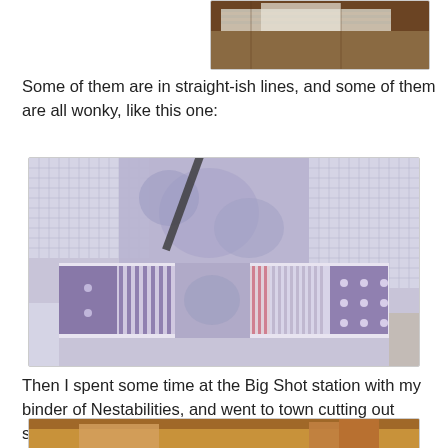[Figure (photo): Top cropped photo showing papers/cards arranged on a table, partially visible at top of page]
Some of them are in straight-ish lines, and some of them are all wonky, like this one:
[Figure (photo): Photo of patchwork paper pieces with various purple/lavender patterns including stripes, dots, floral prints arranged on a surface]
Then I spent some time at the Big Shot station with my binder of Nestabilities, and went to town cutting out shapes. I ended up with these:
[Figure (photo): Bottom photo partially visible showing craft supplies on a table, cropped at bottom of page]